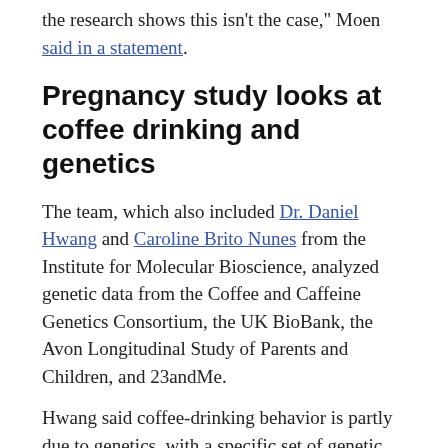the research shows this isn't the case," Moen said in a statement.
Pregnancy study looks at coffee drinking and genetics
The team, which also included Dr. Daniel Hwang and Caroline Brito Nunes from the Institute for Molecular Bioscience, analyzed genetic data from the Coffee and Caffeine Genetics Consortium, the UK BioBank, the Avon Longitudinal Study of Parents and Children, and 23andMe.
Hwang said coffee-drinking behavior is partly due to genetics, with a specific set of genetic variants playing a role in how much coffee we consume.
"We showed that these genetic variants not only affect